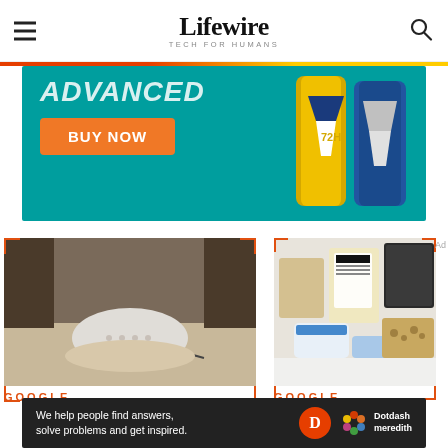Lifewire TECH FOR HUMANS
[Figure (photo): Advertisement banner showing deodorant spray cans on a teal background with 'ADVANCED' text and an orange 'BUY NOW' button]
[Figure (photo): Google Home Mini smart speaker sitting on a countertop, with orange corner bracket marks and 'GOOGLE' label below]
[Figure (photo): Refrigerator drawer with food items including containers and packaged foods, with orange corner bracket marks and 'GOOGLE' label below]
[Figure (photo): Dotdash Meredith footer advertisement: 'We help people find answers, solve problems and get inspired.' with Dotdash Meredith logo]